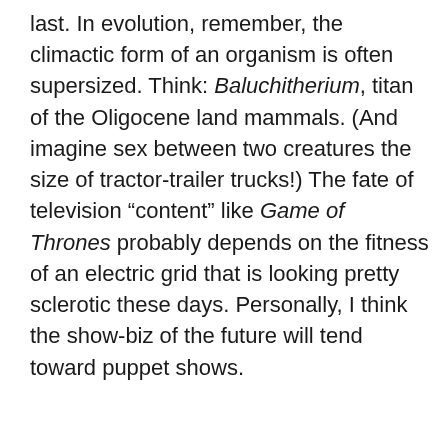last. In evolution, remember, the climactic form of an organism is often supersized. Think: Baluchitherium, titan of the Oligocene land mammals. (And imagine sex between two creatures the size of tractor-trailer trucks!) The fate of television “content” like Game of Thrones probably depends on the fitness of an electric grid that is looking pretty sclerotic these days. Personally, I think the show-biz of the future will tend toward puppet shows.